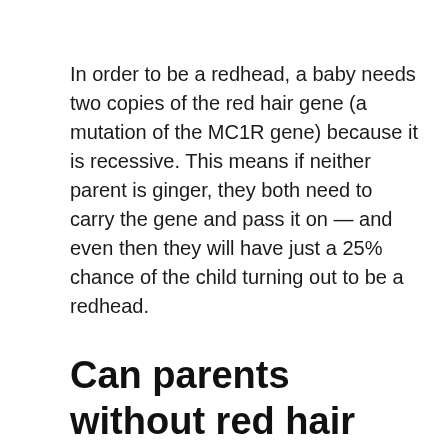In order to be a redhead, a baby needs two copies of the red hair gene (a mutation of the MC1R gene) because it is recessive. This means if neither parent is ginger, they both need to carry the gene and pass it on — and even then they will have just a 25% chance of the child turning out to be a redhead.
Can parents without red hair have a child with red hair?
Even if you don't have red hair, you can still pass on a red hair allele to your child! Since red hair is recessive, you could carry instructions for making red hair hidden in your DNA.